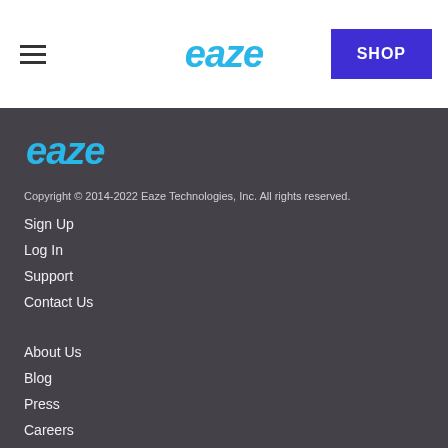eaze | SHOP
[Figure (logo): Eaze logo in blue italic text in footer]
Copyright © 2014-2022 Eaze Technologies, Inc. All rights reserved.
Sign Up
Log In
Support
Contact Us
About Us
Blog
Press
Careers